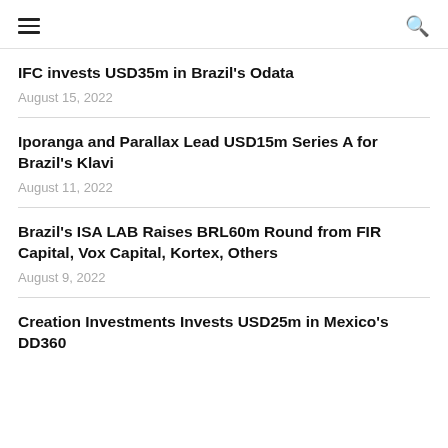≡  🔍
IFC invests USD35m in Brazil's Odata
August 15, 2022
Iporanga and Parallax Lead USD15m Series A for Brazil's Klavi
August 11, 2022
Brazil's ISA LAB Raises BRL60m Round from FIR Capital, Vox Capital, Kortex, Others
August 9, 2022
Creation Investments Invests USD25m in Mexico's DD360